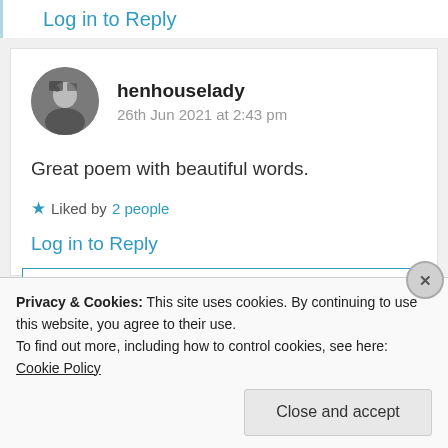Log in to Reply
[Figure (photo): Circular avatar photo of user henhouselady]
henhouselady
26th Jun 2021 at 2:43 pm
Great poem with beautiful words.
★ Liked by 2 people
Log in to Reply
Privacy & Cookies: This site uses cookies. By continuing to use this website, you agree to their use.
To find out more, including how to control cookies, see here: Cookie Policy
Close and accept